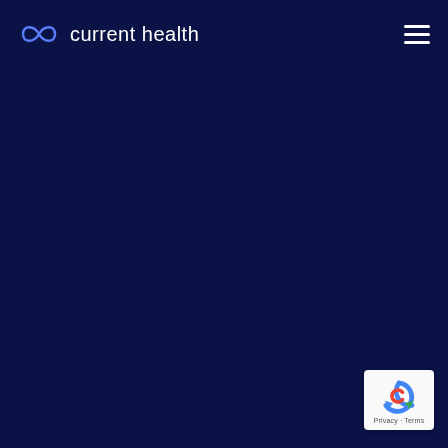[Figure (logo): Current Health logo with infinity-style icon and white text 'current health' on dark navy background]
[Figure (other): Hamburger menu icon (three horizontal white lines) in top right corner]
[Figure (other): reCAPTCHA badge in bottom right corner with Google reCAPTCHA logo, Privacy and Terms links]